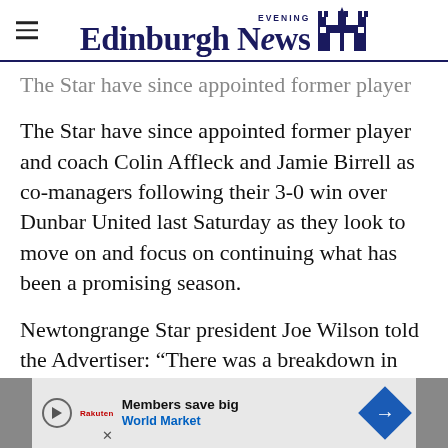Edinburgh Evening News
The Star have since appointed former player and coach Colin Affleck and Jamie Birrell as co-managers following their 3-0 win over Dunbar United last Saturday as they look to move on and focus on continuing what has been a promising season.
Newtongrange Star president Joe Wilson told the Advertiser: “There was a breakdown in the relationship between the manager and the office bearers.
[Figure (screenshot): Advertisement banner for World Market: 'Members save big / World Market' with play button, Rakuten logo, and blue diamond navigation arrow]